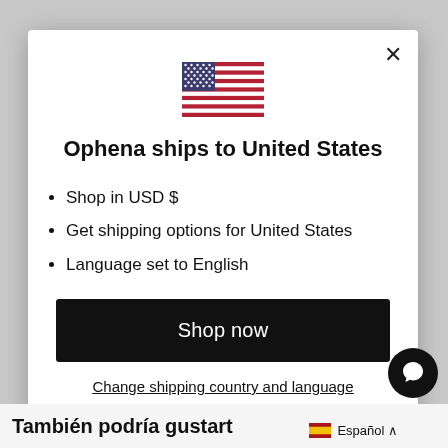[Figure (illustration): US flag emoji/icon centered at top of modal]
Ophena ships to United States
Shop in USD $
Get shipping options for United States
Language set to English
Shop now
Change shipping country and language
También podría gustart
Español